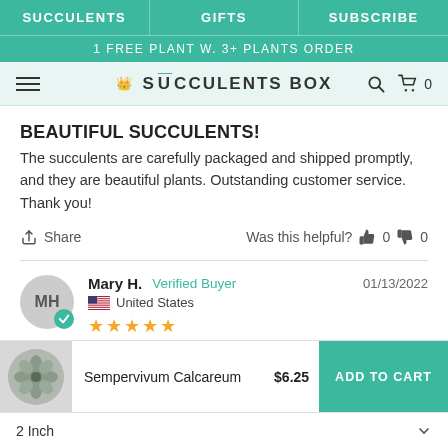SUCCULENTS | GIFTS | SUBSCRIBE
1 FREE PLANT W. 3+ PLANTS ORDER
SUCCULENTS BOX
BEAUTIFUL SUCCULENTS!
The succulents are carefully packaged and shipped promptly, and they are beautiful plants. Outstanding customer service. Thank you!
Share   Was this helpful?  👍 0  👎 0
Mary H.  Verified Buyer   01/13/2022
🇺🇸 United States
★★★★★
Sempervivum Calcareum  $6.25  ADD TO CART
2 Inch